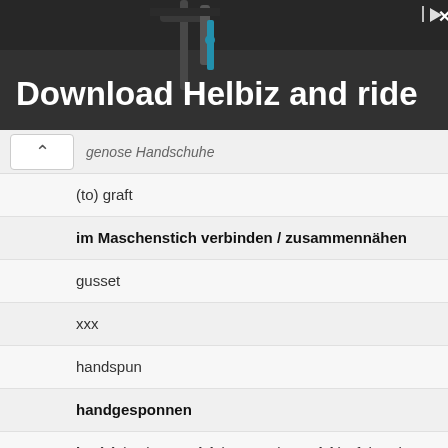[Figure (photo): Advertisement banner for Helbiz scooter app showing handlebars of a scooter with text 'Download Helbiz and ride']
genose Handschuhe
(to) graft
im Maschenstich verbinden / zusammennähen
gusset
xxx
handspun
handgesponnen
hat(s) (US), toque(s) (UK-Can), cap(s)(soft head